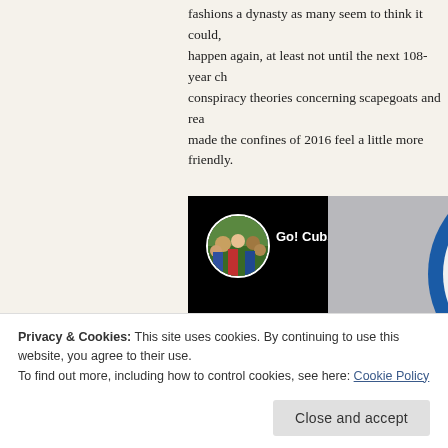fashions a dynasty as many seem to think it could, happen again, at least not until the next 108-year ch conspiracy theories concerning scapegoats and rea made the confines of 2016 feel a little more friendly.
[Figure (screenshot): Video thumbnail showing a circular avatar with crowd image and text 'Go! Cubs! Go!' on black background, alongside a Chicago Cubs logo on grey background]
Privacy & Cookies: This site uses cookies. By continuing to use this website, you agree to their use.
To find out more, including how to control cookies, see here: Cookie Policy